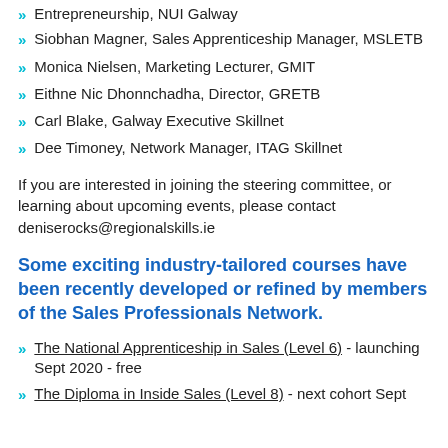Entrepreneurship, NUI Galway
Siobhan Magner, Sales Apprenticeship Manager, MSLETB
Monica Nielsen, Marketing Lecturer, GMIT
Eithne Nic Dhonnchadha, Director, GRETB
Carl Blake, Galway Executive Skillnet
Dee Timoney, Network Manager, ITAG Skillnet
If you are interested in joining the steering committee, or learning about upcoming events, please contact deniserocks@regionalskills.ie
Some exciting industry-tailored courses have been recently developed or refined by members of the Sales Professionals Network.
The National Apprenticeship in Sales (Level 6) - launching Sept 2020 - free
The Diploma in Inside Sales (Level 8) - next cohort Sept